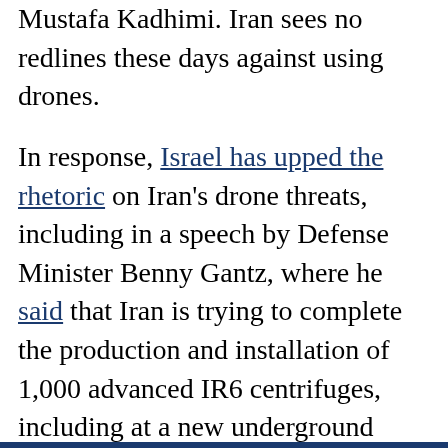Mustafa Kadhimi. Iran sees no redlines these days against using drones.
In response, Israel has upped the rhetoric on Iran's drone threats, including in a speech by Defense Minister Benny Gantz, where he said that Iran is trying to complete the production and installation of 1,000 advanced IR6 centrifuges, including at a new underground facility being built near Natanz. He also noted that the belligerent regime supplies Venezuela with drones and that it has also set up a drone factory in Tajikistan.
In recent weeks there have been reports that key members of Tehran's drone program may have been targeted in Iran